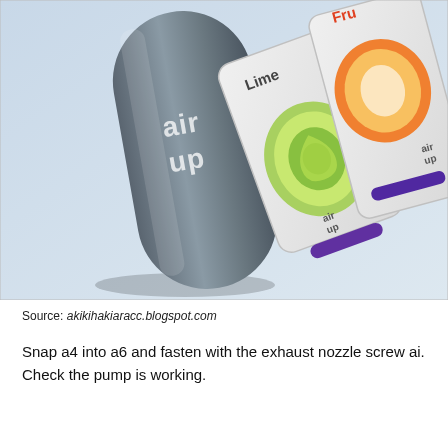[Figure (photo): Photo of an 'air up' water bottle and two flavor pod packets (Lime and Fruit) arranged on a light blue surface. The bottle is grey and cylindrical with 'air up' logo. The packets are white foil pouches showing citrus fruit imagery.]
Source: akikihakiaracc.blogspot.com
Snap a4 into a6 and fasten with the exhaust nozzle screw ai. Check the pump is working.